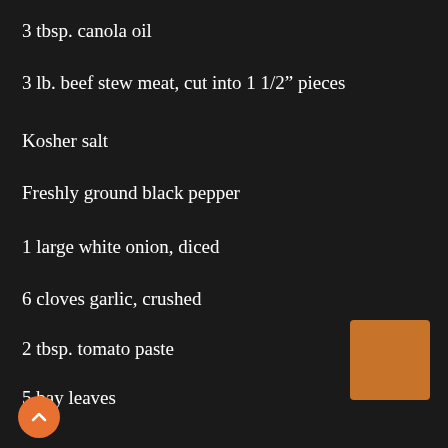3 tbsp.  canola oil
3 lb.  beef stew meat, cut into 1 1/2" pieces
Kosher salt
Freshly ground black pepper
1 large white onion, diced
6 cloves garlic, crushed
2 tbsp.  tomato paste
5 bay leaves
1 1/2 lb.  Yukon Gold potatoes, cut into 1 1/2" pieces
4 large carrots, cut into 2" pieces
3 tbsp.  All-purpose flour